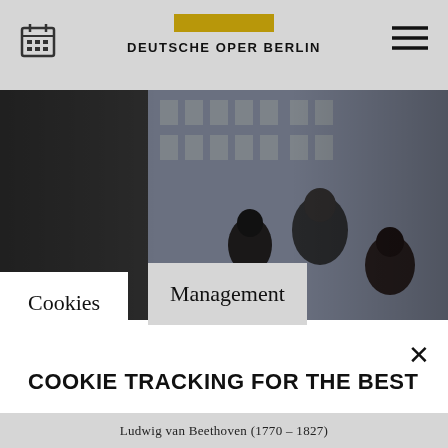DEUTSCHE OPER BERLIN
[Figure (photo): Opera performers in theatrical costumes in front of a building facade; dark cinematic style]
Cookies
Management
COOKIE TRACKING FOR THE BEST DEUTSCHE OPER BERLIN EXPERIENCE
By selecting "Accept necessary cookies" you allow Deutsche Oper Berlin to use technically necessary cookies, pixels, tags and similar technologies. Selecting
Ludwig van Beethoven (1770 – 1827)